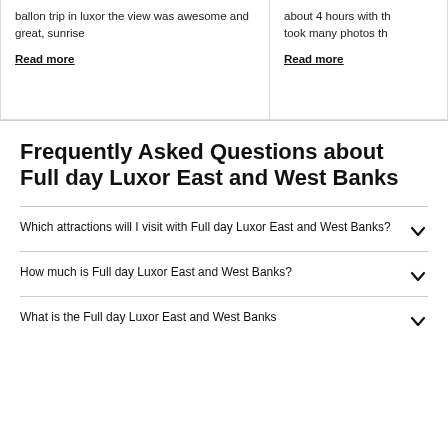ballon trip in luxor the view was awesome and great, sunrise
Read more
about 4 hours with th took many photos th
Read more
Frequently Asked Questions about Full day Luxor East and West Banks
Which attractions will I visit with Full day Luxor East and West Banks?
How much is Full day Luxor East and West Banks?
What is the Full day Luxor East and West Banks